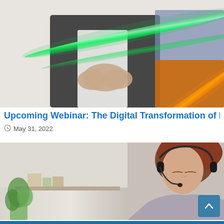[Figure (photo): Person in business attire with glowing green and orange light streaks across a dark background, suggesting digital transformation or connectivity.]
Upcoming Webinar: The Digital Transformation of High-
May 31, 2022
[Figure (photo): Person with red/auburn hair wearing a headset, seated at a desk with a plant and shelves visible in the background, suggesting a remote work or webinar setting.]